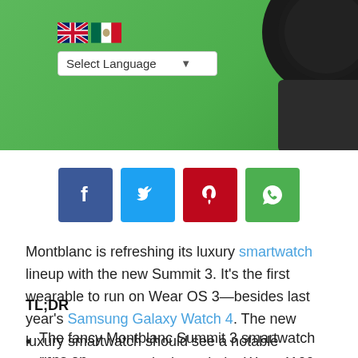[Figure (screenshot): Green banner header with UK and Mexico flag icons, a 'Select Language' dropdown, and a partial smartwatch image on the right side]
[Figure (infographic): Row of four social sharing buttons: Facebook (dark blue), Twitter (light blue), Pinterest (red), WhatsApp (green)]
Montblanc is refreshing its luxury smartwatch lineup with the new Summit 3. It's the first wearable to run on Wear OS 3—besides last year's Samsung Galaxy Watch 4. The new luxury smartwatch should see a notable performance upgrade through the Wear 4100 Plus chipset while retailing for an eye-popping price of US $1290 (€1250 in euro).
TL;DR
The fancy Montblanc Summit 3 smartwatch runs on